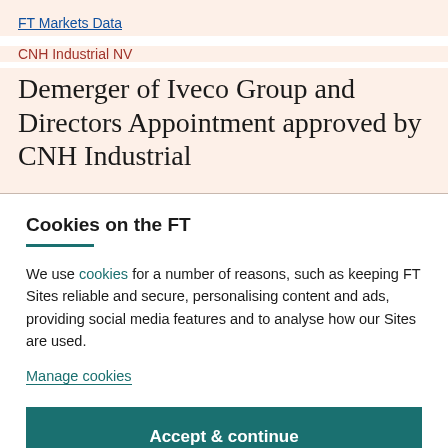FT Markets Data
CNH Industrial NV
Demerger of Iveco Group and Directors Appointment approved by CNH Industrial
Cookies on the FT
We use cookies for a number of reasons, such as keeping FT Sites reliable and secure, personalising content and ads, providing social media features and to analyse how our Sites are used.
Manage cookies
Accept & continue